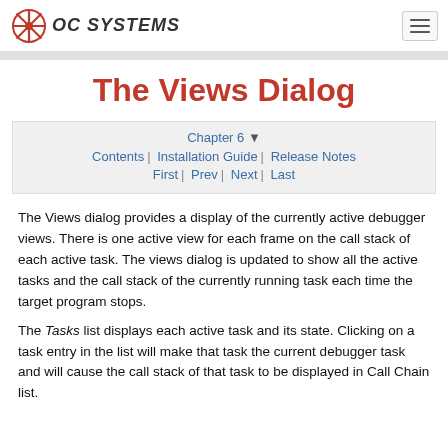OC SYSTEMS
The Views Dialog
Chapter 6 | Contents | Installation Guide | Release Notes | First | Prev | Next | Last
The Views dialog provides a display of the currently active debugger views. There is one active view for each frame on the call stack of each active task. The views dialog is updated to show all the active tasks and the call stack of the currently running task each time the target program stops.
The Tasks list displays each active task and its state. Clicking on a task entry in the list will make that task the current debugger task and will cause the call stack of that task to be displayed in Call Chain list.